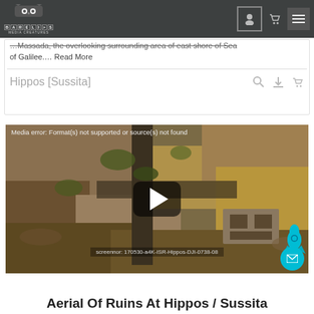Barelis Media Creatures — navigation bar with logo, user icon, cart icon, menu icon
…Massada, the overlooking surrounding area of east shore of Sea of Galilee.… Read More
Hippos [Sussita]
[Figure (screenshot): Video player showing aerial footage of ruins at Hippos/Sussita archaeological site. Shows rocky terrain with excavated structures from above. Displays media error: Format(s) not supported or source(s) not found. Has a play button overlay and watermark text: screennor: 170530-a4K-ISR-Hippos-DJI-0738-08. Cyan rocket mascot icon in lower right.]
Aerial Of Ruins At Hippos / Sussita